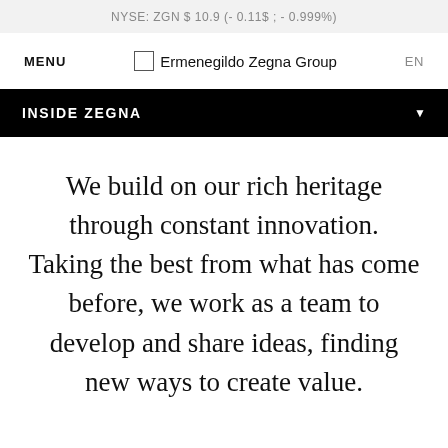NYSE: ZGN $ 10.9 (- 0.11$ ; - 0.999%)
MENU   Ermenegildo Zegna Group   EN
INSIDE ZEGNA
We build on our rich heritage through constant innovation. Taking the best from what has come before, we work as a team to develop and share ideas, finding new ways to create value.